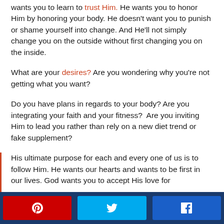wants you to learn to trust Him. He wants you to honor Him by honoring your body. He doesn't want you to punish or shame yourself into change. And He'll not simply change you on the outside without first changing you on the inside.
What are your desires? Are you wondering why you're not getting what you want?
Do you have plans in regards to your body? Are you integrating your faith and your fitness?  Are you inviting Him to lead you rather than rely on a new diet trend or fake supplement?
His ultimate purpose for each and every one of us is to follow Him. He wants our hearts and wants to be first in our lives. God wants you to accept His love for
Pinterest Twitter Facebook